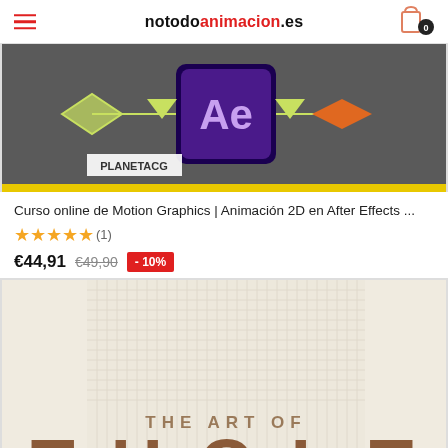notodoanimacion.es
[Figure (screenshot): Screenshot of a course thumbnail for Motion Graphics / After Effects course with PLANETACG label, showing After Effects logo with geometric shapes on dark background]
Curso online de Motion Graphics | Animación 2D en After Effects ...
★★★★★(1)
€44,91  €49,90  - 10%
[Figure (photo): Book cover showing 'THE ART OF' text at bottom of a cream/beige patterned background, with the beginning of large letters below]